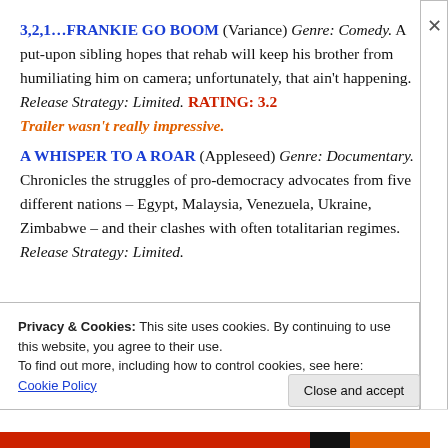3,2,1...FRANKIE GO BOOM (Variance) Genre: Comedy. A put-upon sibling hopes that rehab will keep his brother from humiliating him on camera; unfortunately, that ain't happening. Release Strategy: Limited. RATING: 3.2 Trailer wasn't really impressive.
A WHISPER TO A ROAR (Appleseed) Genre: Documentary. Chronicles the struggles of pro-democracy advocates from five different nations – Egypt, Malaysia, Venezuela, Ukraine, Zimbabwe – and their clashes with often totalitarian regimes. Release Strategy: Limited.
Privacy & Cookies: This site uses cookies. By continuing to use this website, you agree to their use. To find out more, including how to control cookies, see here: Cookie Policy
Close and accept